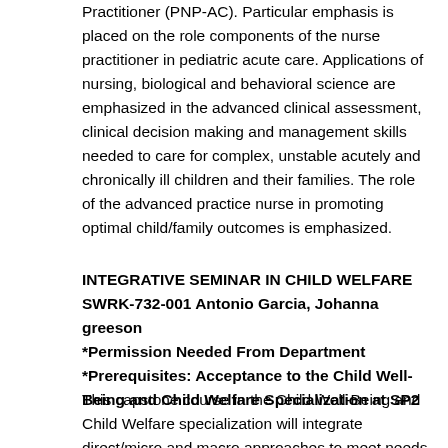Practitioner (PNP-AC). Particular emphasis is placed on the role components of the nurse practitioner in pediatric acute care. Applications of nursing, biological and behavioral science are emphasized in the advanced clinical assessment, clinical decision making and management skills needed to care for complex, unstable acutely and chronically ill children and their families. The role of the advanced practice nurse in promoting optimal child/family outcomes is emphasized.
INTEGRATIVE SEMINAR IN CHILD WELFARE SWRK-732-001 Antonio Garcia, Johanna greeson *Permission Needed From Department *Prerequisites: Acceptance to the Child Well-Being and Child Welfare Specialization at SP2
This capstone course in the Child Well-Being and Child Welfare specialization will integrate direct/micro and macro approaches to meet needs related to child welfare and